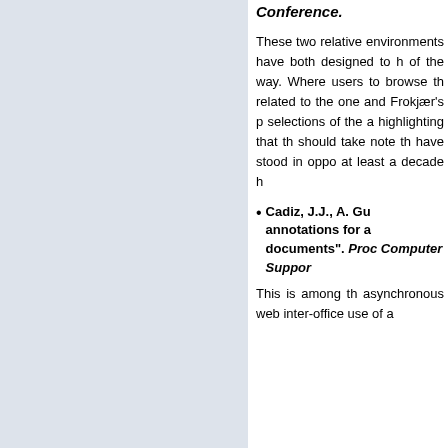Conference.
These two relative environments have both designed to h of the way. Where users to browse th related to the one and Frokjær's p selections of the a highlighting that th should take note th have stood in oppo at least a decade h
Cadiz, J.J., A. Gu annotations for a documents". Proc Computer Suppor
This is among th asynchronous web inter-office use of a